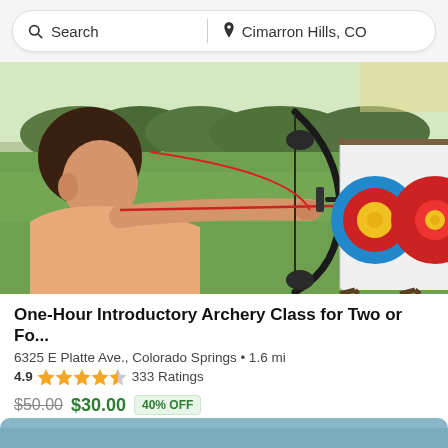Search | Cimarron Hills, CO
[Figure (photo): A woman aiming a compound bow at two archery targets on a white board mounted on a wooden easel in a grassy outdoor field.]
One-Hour Introductory Archery Class for Two or Fo...
6325 E Platte Ave., Colorado Springs • 1.6 mi
4.9 ★★★★½ 333 Ratings
$50.00 $30.00 40% OFF
One-Hour Introduction to Archery Class for Two